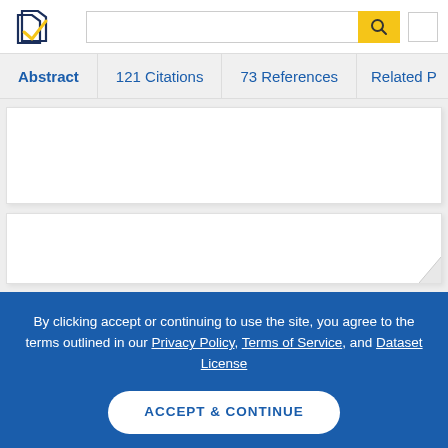[Figure (logo): Semantic Scholar logo — dark blue and gold stylized paper/check mark icon]
Abstract | 121 Citations | 73 References | Related P...
[Figure (screenshot): Blurred/blank paper thumbnail card 1]
[Figure (screenshot): Blurred/blank paper thumbnail card 2 with folded corner]
By clicking accept or continuing to use the site, you agree to the terms outlined in our Privacy Policy, Terms of Service, and Dataset License
ACCEPT & CONTINUE